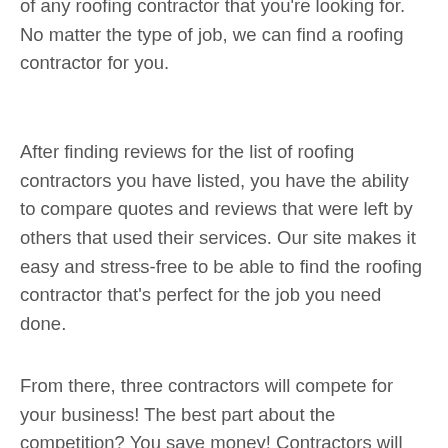of any roofing contractor that you're looking for. No matter the type of job, we can find a roofing contractor for you.
After finding reviews for the list of roofing contractors you have listed, you have the ability to compare quotes and reviews that were left by others that used their services. Our site makes it easy and stress-free to be able to find the roofing contractor that's perfect for the job you need done.
From there, three contractors will compete for your business! The best part about the competition? You save money! Contractors will compete in offering quotes and rates that will act almost as a competitive bidding or auction. Ultimately, this allows you to save the most money possible.
On top of all of this, our services are free! Not only do